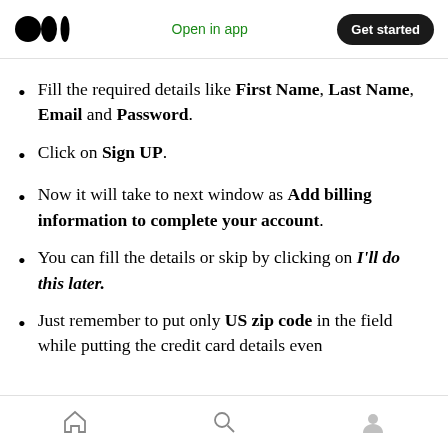Open in app | Get started
Fill the required details like First Name, Last Name, Email and Password.
Click on Sign UP.
Now it will take to next window as Add billing information to complete your account.
You can fill the details or skip by clicking on I'll do this later.
Just remember to put only US zip code in the field while putting the credit card details even
Home | Search | Profile